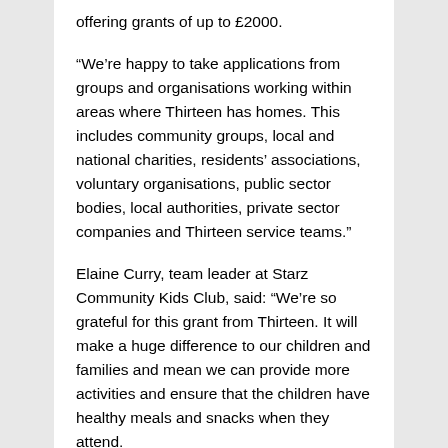offering grants of up to £2000.
“We’re happy to take applications from groups and organisations working within areas where Thirteen has homes. This includes community groups, local and national charities, residents’ associations, voluntary organisations, public sector bodies, local authorities, private sector companies and Thirteen service teams.”
Elaine Curry, team leader at Starz Community Kids Club, said: “We’re so grateful for this grant from Thirteen. It will make a huge difference to our children and families and mean we can provide more activities and ensure that the children have healthy meals and snacks when they attend.